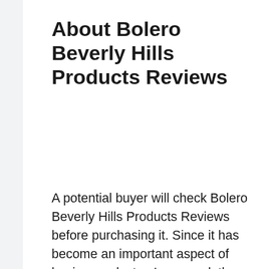About Bolero Beverly Hills Products Reviews
A potential buyer will check Bolero Beverly Hills Products Reviews before purchasing it. Since it has become an important aspect of buying products., In general, the product marketer monitors the Bolero Beverly Hills Products Reviews website, and it won't be remained ungoverned at any cost.
Benefits of Reading Bolero Beverly Hills